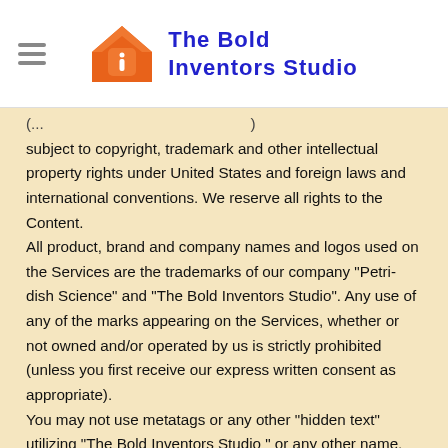The Bold Inventors Studio
subject to copyright, trademark and other intellectual property rights under United States and foreign laws and international conventions. We reserve all rights to the Content. All product, brand and company names and logos used on the Services are the trademarks of our company "Petri-dish Science" and "The Bold Inventors Studio". Any use of any of the marks appearing on the Services, whether or not owned and/or operated by us is strictly prohibited (unless you first receive our express written consent as appropriate). You may not use metatags or any other "hidden text" utilizing "The Bold Inventors Studio " or any other name, trademark, service mark or product or service name of The Bold Inventors Studio without our prior written permission. In addition, the look